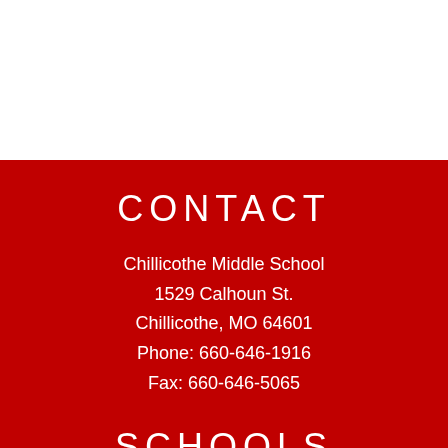CONTACT
Chillicothe Middle School
1529 Calhoun St.
Chillicothe, MO 64601
Phone: 660-646-1916
Fax: 660-646-5065
SCHOOLS